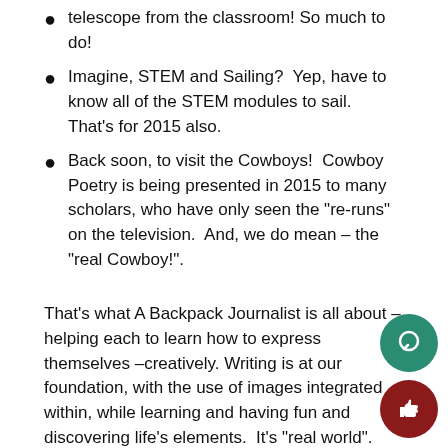telescope from the classroom! So much to do!
Imagine, STEM and Sailing?  Yep, have to know all of the STEM modules to sail.  That’s for 2015 also.
Back soon, to visit the Cowboys!  Cowboy Poetry is being presented in 2015 to many scholars, who have only seen the “re-runs” on the television.  And, we do mean – the “real Cowboy!”.
That’s what A Backpack Journalist is all about –helping each to learn how to express themselves –creatively.  Writing is at our foundation, with the use of images integrated within, while learning and having fun and discovering life’s elements.  It’s “real world”.  Not always found in a book, and with each person learning how to write their own book or story, with images!
At year’s end, we learned that we are soon back in Washington, DC in the